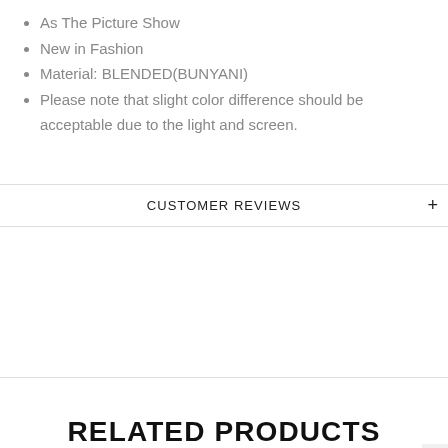As The Picture Show
New in Fashion
Material: BLENDED(BUNYANI)
Please note that slight color difference should be acceptable due to the light and screen.
CUSTOMER REVIEWS
RELATED PRODUCTS